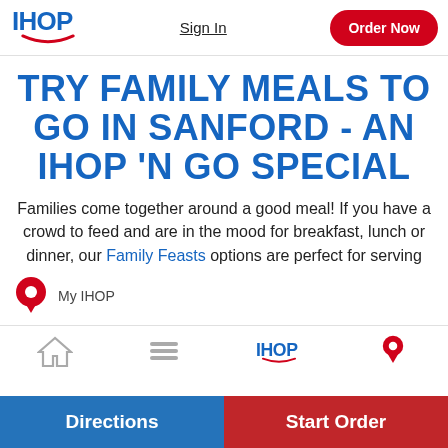IHOP | Sign In | Order Now
TRY FAMILY MEALS TO GO IN SANFORD - AN IHOP 'N GO SPECIAL
Families come together around a good meal! If you have a crowd to feed and are in the mood for breakfast, lunch or dinner, our Family Feasts options are perfect for serving
My IHOP
Directions | Start Order